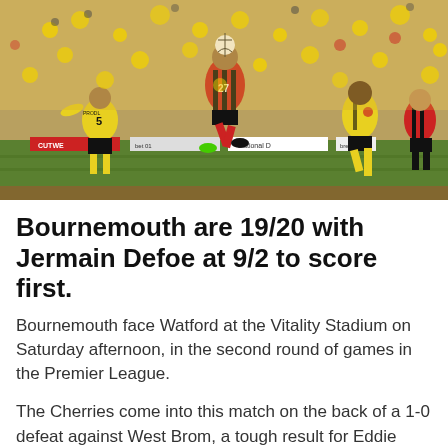[Figure (photo): Football match action photo showing players jumping for a header. A player in black and red stripes (Bournemouth, number 27) heads the ball against players in yellow and black (Watford, including number 5 with name PRODL). A large crowd of fans in yellow fills the background. An advertising hoarding with 'National D' and 'CUTWE' text is visible at the bottom of the pitch.]
Bournemouth are 19/20 with Jermain Defoe at 9/2 to score first.
Bournemouth face Watford at the Vitality Stadium on Saturday afternoon, in the second round of games in the Premier League.
The Cherries come into this match on the back of a 1-0 defeat against West Brom, a tough result for Eddie Howe's side.